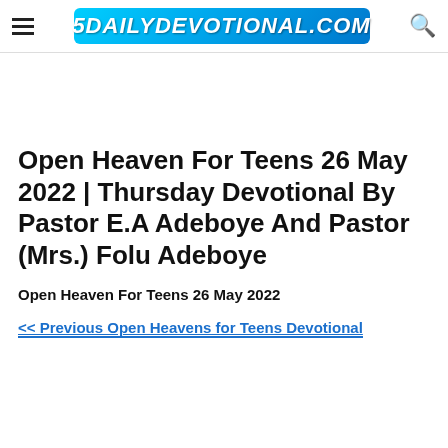5DAILYDEVOTIONAL.COM
Open Heaven For Teens 26 May 2022 | Thursday Devotional By Pastor E.A Adeboye And Pastor (Mrs.) Folu Adeboye
Open Heaven For Teens 26 May 2022
<< Previous Open Heavens for Teens Devotional